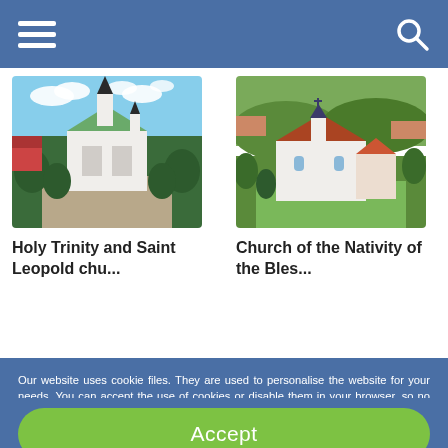Navigation header with hamburger menu and search icon
[Figure (photo): Aerial view of Holy Trinity and Saint Leopold church - white church with dark spires surrounded by green trees]
[Figure (photo): Aerial view of Church of the Nativity of the Blessed - small white chapel with red/brown roof surrounded by green trees]
Holy Trinity and Saint Leopold chu...
Church of the Nativity of the Bles...
Our website uses cookie files. They are used to personalise the website for your needs. You can accept the use of cookies or disable them in your browser, so no information will be collected. Learn more about cookies in Privacy Policy
Accept